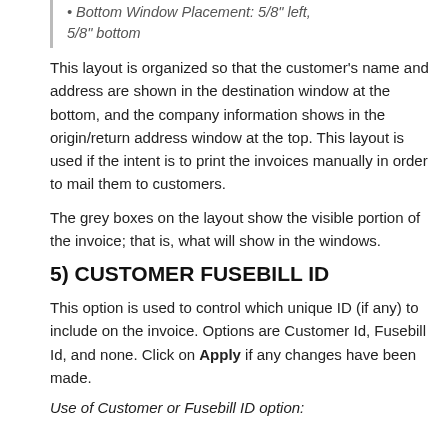• Bottom Window Placement: 5/8" left, 5/8" bottom
This layout is organized so that the customer's name and address are shown in the destination window at the bottom, and the company information shows in the origin/return address window at the top. This layout is used if the intent is to print the invoices manually in order to mail them to customers.
The grey boxes on the layout show the visible portion of the invoice; that is, what will show in the windows.
5) CUSTOMER FUSEBILL ID
This option is used to control which unique ID (if any) to include on the invoice. Options are Customer Id, Fusebill Id, and none. Click on Apply if any changes have been made.
Use of Customer or Fusebill ID option: